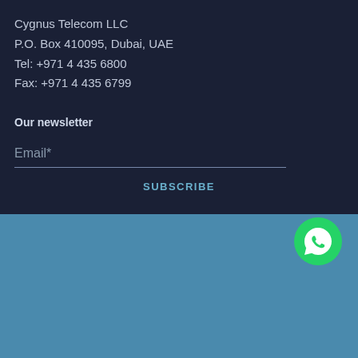Cygnus Telecom LLC
P.O. Box 410095, Dubai, UAE
Tel: +971 4 435 6800
Fax: +971 4 435 6799
Our newsletter
Email*
SUBSCRIBE
[Figure (logo): WhatsApp icon button — green circle with white phone/chat handset logo]